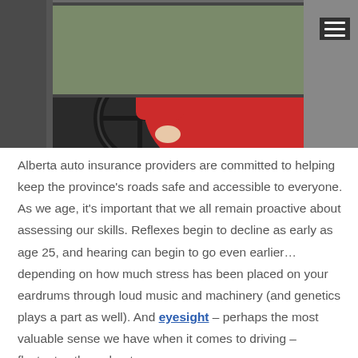[Figure (photo): Elderly woman wearing a red jacket sitting in the driver's seat of a car, hands on the steering wheel, photographed from the passenger side.]
Alberta auto insurance providers are committed to helping keep the province's roads safe and accessible to everyone. As we age, it's important that we all remain proactive about assessing our skills. Reflexes begin to decline as early as age 25, and hearing can begin to go even earlier…depending on how much stress has been placed on your eardrums through loud music and machinery (and genetics plays a part as well). And eyesight – perhaps the most valuable sense we have when it comes to driving – fluctuates throughout our